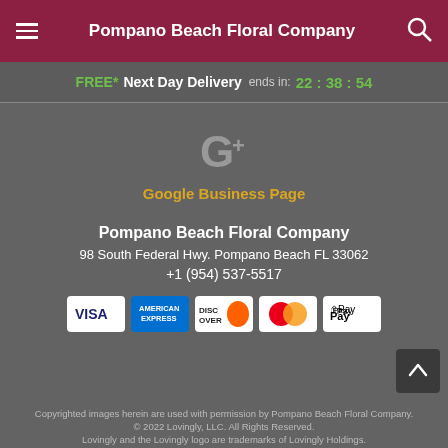Pompano Beach Floral Company
FREE* Next Day Delivery ends in: 22:38:54
[Figure (logo): Google+ icon (G+ logo in grey)]
Google Business Page
Pompano Beach Floral Company
98 South Federal Hwy. Pompano Beach FL 33062
+1 (954) 537-5517
[Figure (other): Payment method icons: VISA, American Express, Discover, MasterCard, Apple Pay]
Copyrighted images herein are used with permission by Pompano Beach Floral Company.
© 2022 Lovingly, LLC. All Rights Reserved.
Lovingly and the Lovingly logo are trademarks of Lovingly Holdings.